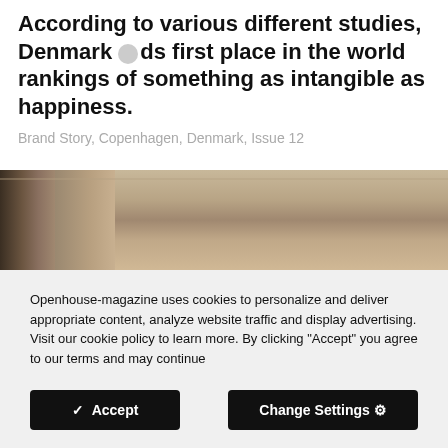According to various different studies, Denmark holds first place in the world rankings of something as intangible as happiness.
Brand Story, Copenhagen, Denmark, Issue 12
[Figure (photo): Interior photo showing a room corner with curtains on the left and a beige/tan ceiling and wall]
Openhouse-magazine uses cookies to personalize and deliver appropriate content, analyze website traffic and display advertising. Visit our cookie policy to learn more. By clicking "Accept" you agree to our terms and may continue